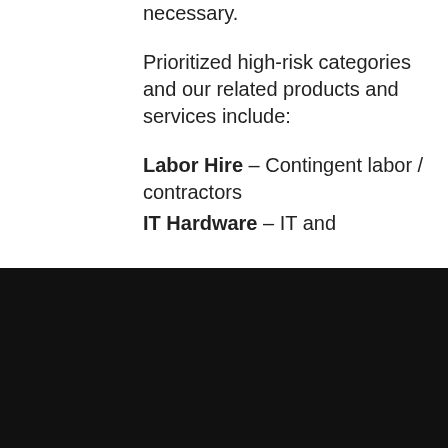necessary.
Prioritized high-risk categories and our related products and services include:
Labor Hire – Contingent labor / contractors
IT Hardware – IT and
[Figure (logo): BNY Mellon logo with arrow/chevron icon and text BNY MELLON]
Your Privacy
We use cookies to improve your experience on our websites. By continuing you are giving consent to cookies being used. Cookie Notice →